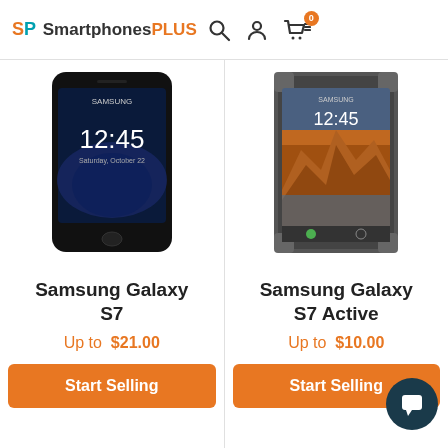SmartphonesPLUS — navigation header with search, user, and cart icons
[Figure (photo): Samsung Galaxy S7 smartphone front view showing 12:45 on screen, black color]
Samsung Galaxy S7
Up to $21.00
Start Selling
[Figure (photo): Samsung Galaxy S7 Active smartphone front view showing 12:45 on screen, grey rugged design with canyon wallpaper]
Samsung Galaxy S7 Active
Up to $10.00
Start Selling